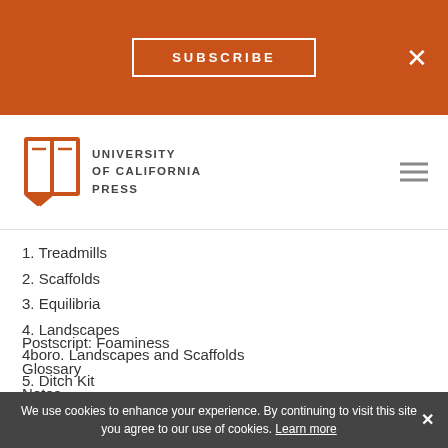SUBSCRIBE  ×
[Figure (logo): University of California Press logo with open book icon and text UNIVERSITY of CALIFORNIA PRESS]
1. Treadmills
2. Scaffolds
3. Equilibria
4. Landscapes
4boro. Landscapes and Scaffolds
5. Ditch Kit
Postscript: Foaminess
Glossary
Notes
Sources
Index
We use cookies to enhance your experience. By continuing to visit this site you agree to our use of cookies. Learn more  ×